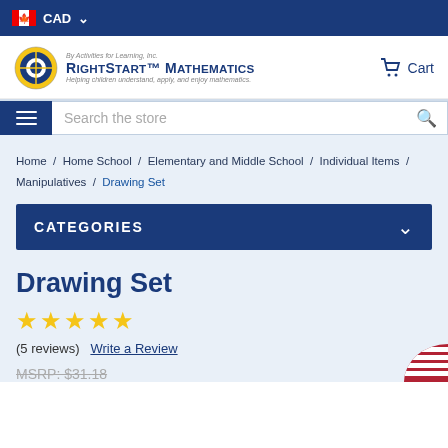CAD
[Figure (logo): RightStart Mathematics logo with circular emblem]
Cart
Search the store
Home / Home School / Elementary and Middle School / Individual Items / Manipulatives / Drawing Set
CATEGORIES
Drawing Set
★★★★★ (5 reviews) Write a Review
MSRP: $31.18